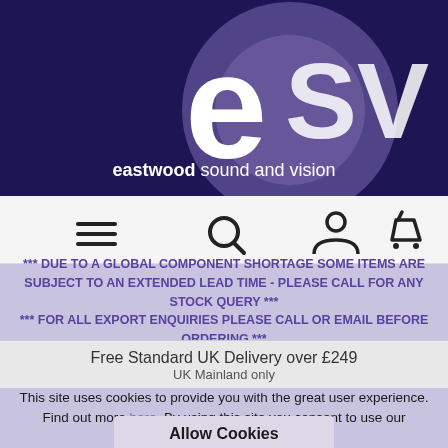[Figure (logo): eSV - Eastwood Sound and Vision logo on dark navy background with large white lowercase 'e' and lighter purple circle outline]
[Figure (infographic): Navigation bar with hamburger menu, search, account, and cart icons]
*** DUE TO A GLOBAL COMPONENT SHORTAGE SOME ITEMS ARE SUBJECT TO AN EXTENDED LEAD TIME - PLEASE CALL FOR ANY STOCK QUERY *** *** FOR ALL EXPORT ENQUIRIES PLEASE CALL OR EMAIL BEFORE ORDERING ***
Free Standard UK Delivery over £249
UK Mainland only
This site uses cookies to provide you with the great user experience. Find out more here. By using this site you consent to use our cookies.
Allow Cookies